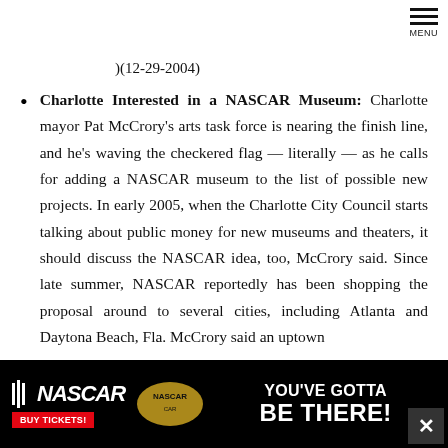MENU
)(12-29-2004)
Charlotte Interested in a NASCAR Museum: Charlotte mayor Pat McCrory's arts task force is nearing the finish line, and he's waving the checkered flag — literally — as he calls for adding a NASCAR museum to the list of possible new projects. In early 2005, when the Charlotte City Council starts talking about public money for new museums and theaters, it should discuss the NASCAR idea, too, McCrory said. Since late summer, NASCAR reportedly has been shopping the proposal around to several cities, including Atlanta and Daytona Beach, Fla. McCrory said an uptown
[Figure (advertisement): NASCAR advertisement banner: NASCAR logo with 'BUY TICKETS!' button, and text 'YOU'VE GOTTA BE THERE!' on black background]